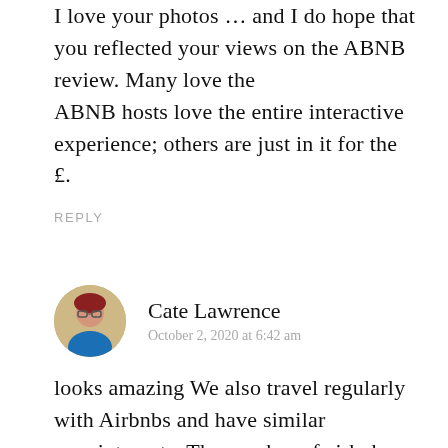I love your photos ... and I do hope that you reflected your views on the ABNB review. Many love the ABNB hosts love the entire interactive experience; others are just in it for the £.
REPLY
Cate Lawrence
October 2, 2020 at 6:42 am
looks amazing We also travel regularly with Airbnbs and have similar appointments. The number of airbnbs without a kitchen sink plug is infuriating for example. Inadequare cookware,